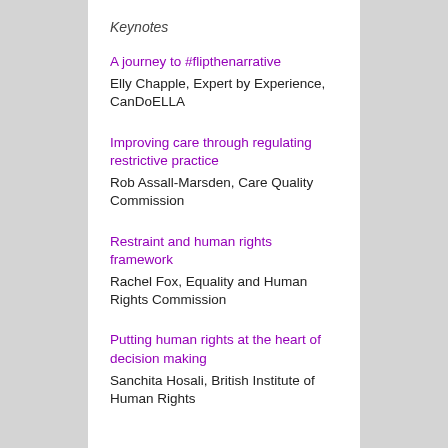Keynotes
A journey to #flipthenarrative
Elly Chapple, Expert by Experience, CanDoELLA
Improving care through regulating restrictive practice
Rob Assall-Marsden, Care Quality Commission
Restraint and human rights framework
Rachel Fox, Equality and Human Rights Commission
Putting human rights at the heart of decision making
Sanchita Hosali, British Institute of Human Rights